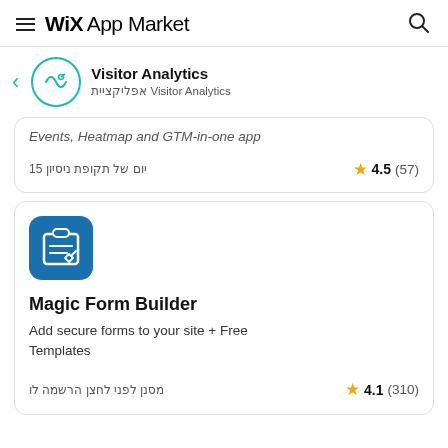WiX App Market
Visitor Analytics / אפליקציית Visitor Analytics
Events, Heatmap and GTM-in-one app
15 יום של תקופת ניסיון
4.5 (57)
[Figure (logo): Magic Form Builder app icon — dark blue square with rounded corners showing a clipboard/form icon]
Magic Form Builder
Add secure forms to your site + Free Templates
מסנן לפני לחצן הרשמה לו
4.1 (310)